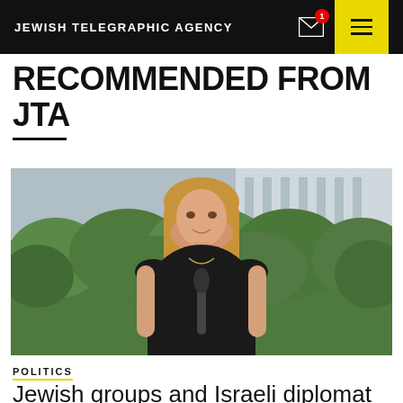JEWISH TELEGRAPHIC AGENCY
RECOMMENDED FROM JTA
[Figure (photo): Blonde woman in black sleeveless top speaking at a microphone outdoors, with green hedges and a building in the background]
POLITICS
Jewish groups and Israeli diplomat